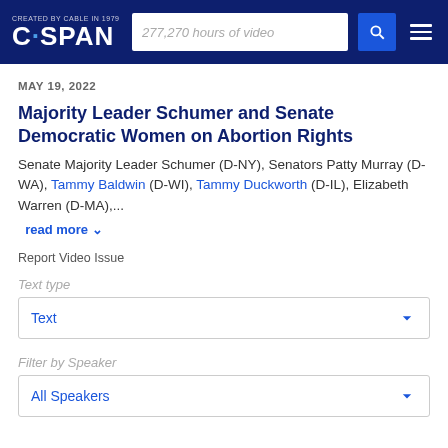CREATED BY CABLE IN 1979 C-SPAN | 277,270 hours of video
MAY 19, 2022
Majority Leader Schumer and Senate Democratic Women on Abortion Rights
Senate Majority Leader Schumer (D-NY), Senators Patty Murray (D-WA), Tammy Baldwin (D-WI), Tammy Duckworth (D-IL), Elizabeth Warren (D-MA),...
read more
Report Video Issue
Text type
Text
Filter by Speaker
All Speakers